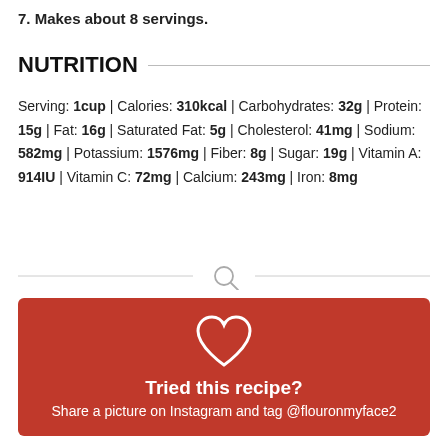7. Makes about 8 servings.
NUTRITION
Serving: 1cup | Calories: 310kcal | Carbohydrates: 32g | Protein: 15g | Fat: 16g | Saturated Fat: 5g | Cholesterol: 41mg | Sodium: 582mg | Potassium: 1576mg | Fiber: 8g | Sugar: 19g | Vitamin A: 914IU | Vitamin C: 72mg | Calcium: 243mg | Iron: 8mg
[Figure (other): Search icon with horizontal divider lines on either side]
[Figure (infographic): Red promotional box with heart icon, bold text 'Tried this recipe?' and subtitle 'Share a picture on Instagram and tag @flouronmyface2']